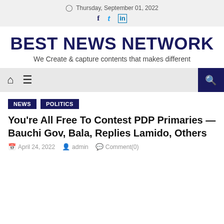Thursday, September 01, 2022
BEST NEWS NETWORK
We Create & capture contents that makes different
NEWS   POLITICS
You're All Free To Contest PDP Primaries —Bauchi Gov, Bala, Replies Lamido, Others
April 24, 2022   admin   Comment(0)